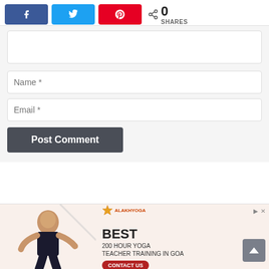[Figure (screenshot): Social share buttons: Facebook (blue), Twitter (light blue), Pinterest (red), and share count showing 0 SHARES]
[Figure (screenshot): Comment form with textarea, Name input field, Email input field, and Post Comment button]
[Figure (screenshot): Advertisement banner for Alakh Yoga: Best 200 Hour Yoga Teacher Training in Goa, with contact us button and www.alakhyoga.com URL, featuring a yoga instructor photo]